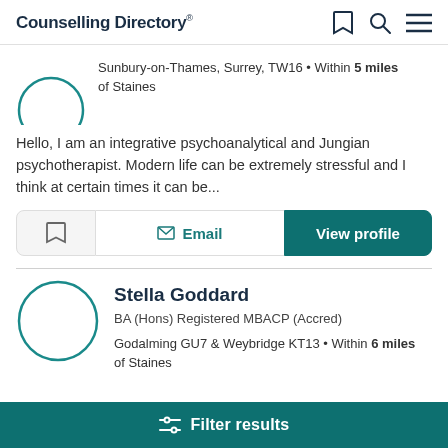Counselling Directory
Sunbury-on-Thames, Surrey, TW16 • Within 5 miles of Staines
Hello, I am an integrative psychoanalytical and Jungian psychotherapist. Modern life can be extremely stressful and I think at certain times it can be...
Stella Goddard
BA (Hons) Registered MBACP (Accred)
Godalming GU7 & Weybridge KT13 • Within 6 miles of Staines
Filter results